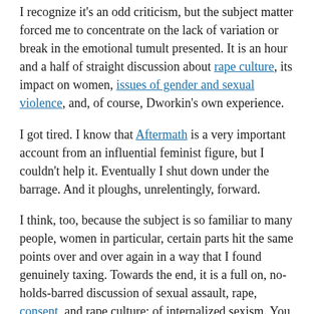I recognize it's an odd criticism, but the subject matter forced me to concentrate on the lack of variation or break in the emotional tumult presented. It is an hour and a half of straight discussion about rape culture, its impact on women, issues of gender and sexual violence, and, of course, Dworkin's own experience.
I got tired. I know that Aftermath is a very important account from an influential feminist figure, but I couldn't help it. Eventually I shut down under the barrage. And it ploughs, unrelentingly, forward.
I think, too, because the subject is so familiar to many people, women in particular, certain parts hit the same points over and over again in a way that I found genuinely taxing. Towards the end, it is a full on, no-holds-barred discussion of sexual assault, rape, consent, and rape culture; of internalized sexism. You support the vibrant and true anger and indignation presented, even as you start to feel that you just can't do this anymore.